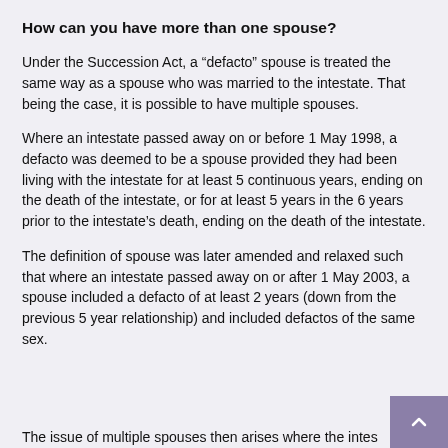How can you have more than one spouse?
Under the Succession Act, a “defacto” spouse is treated the same way as a spouse who was married to the intestate. That being the case, it is possible to have multiple spouses.
Where an intestate passed away on or before 1 May 1998, a defacto was deemed to be a spouse provided they had been living with the intestate for at least 5 continuous years, ending on the death of the intestate, or for at least 5 years in the 6 years prior to the intestate’s death, ending on the death of the intestate.
The definition of spouse was later amended and relaxed such that where an intestate passed away on or after 1 May 2003, a spouse included a defacto of at least 2 years (down from the previous 5 year relationship) and included defactos of the same sex.
The issue of multiple spouses then arises where the intestate